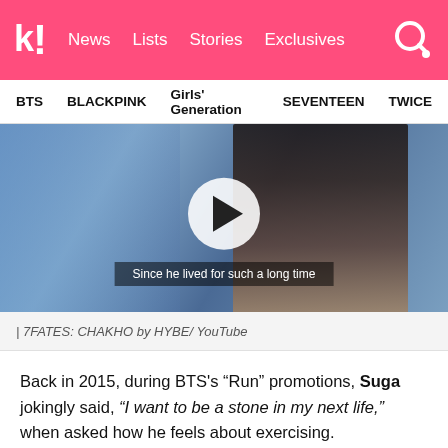k! News  Lists  Stories  Exclusives
BTS  BLACKPINK  Girls' Generation  SEVENTEEN  TWICE
[Figure (screenshot): Video thumbnail showing a person with dark hair, a play button overlay, and subtitle text: 'Since he lived for such a long time']
| 7FATES: CHAKHO by HYBE/ YouTube
Back in 2015, during BTS's “Run” promotions, Suga jokingly said, “I want to be a stone in my next life,” when asked how he feels about exercising.